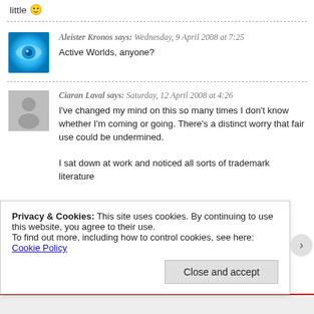little 🙂
Aleister Kronos says: Wednesday, 9 April 2008 at 7:25
Active Worlds, anyone?
Ciaran Laval says: Saturday, 12 April 2008 at 4:26
I've changed my mind on this so many times I don't know whether I'm coming or going. There's a distinct worry that fair use could be undermined.

I sat down at work and noticed all sorts of trademark literature
Privacy & Cookies: This site uses cookies. By continuing to use this website, you agree to their use.
To find out more, including how to control cookies, see here: Cookie Policy
Close and accept